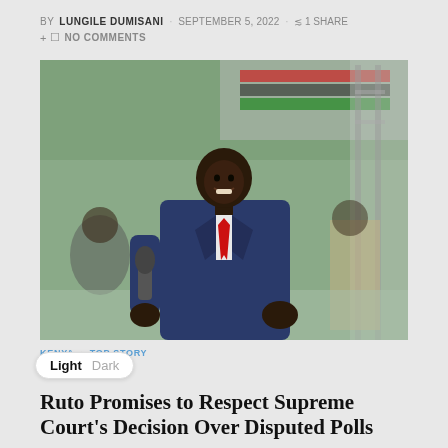BY LUNGILE DUMISANI · SEPTEMBER 5, 2022 · 1 SHARE + NO COMMENTS
[Figure (photo): Man in blue suit with red tie holding a microphone, smiling, speaking at an outdoor event with Kenyan flag colors in the background]
KENYA TOP STORY
Ruto Promises to Respect Supreme Court's Decision Over Disputed Polls